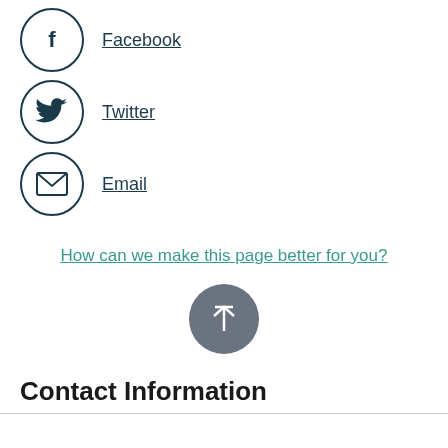Facebook
Twitter
Email
How can we make this page better for you?
[Figure (other): Back to top button - grey circle with upward arrow]
Contact Information